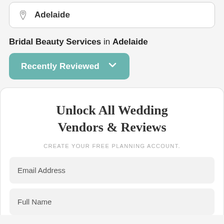Adelaide
Bridal Beauty Services in Adelaide
Recently Reviewed
Unlock All Wedding Vendors & Reviews
CREATE YOUR FREE PLANNING ACCOUNT.
Email Address
Full Name